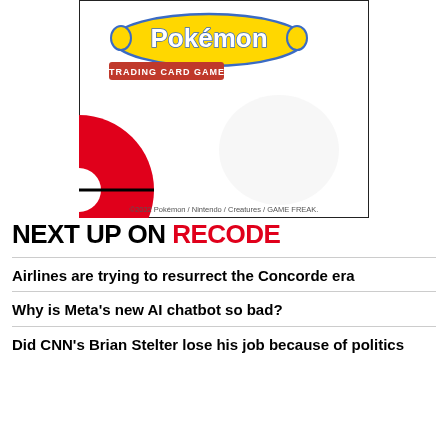[Figure (illustration): Pokemon Trading Card Game card showing the Pokemon logo at the top with a red circular shape (Pokeball bottom half) at the lower left. Copyright text reads: ©2022 Pokémon / Nintendo / Creatures / GAME FREAK.]
NEXT UP ON RECODE
Airlines are trying to resurrect the Concorde era
Why is Meta's new AI chatbot so bad?
Did CNN's Brian Stelter lose his job because of politics